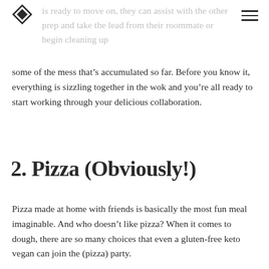[logo] [menu]
is ready to move on, they can assist with the other prep and take the lead from their roommate or begin cleaning up
some of the mess that’s accumulated so far. Before you know it, everything is sizzling together in the wok and you’re all ready to start working through your delicious collaboration.
2. Pizza (Obviously!)
Pizza made at home with friends is basically the most fun meal imaginable. And who doesn’t like pizza? When it comes to dough, there are so many choices that even a gluten-free keto vegan can join the (pizza) party.